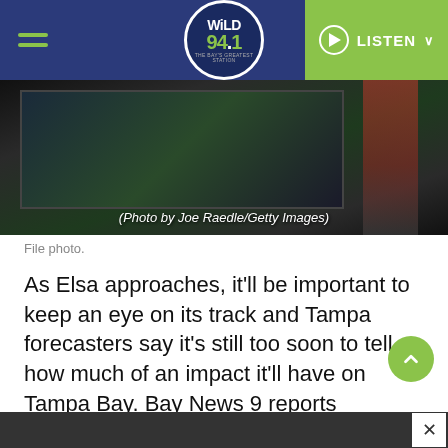WiLD 94.1 — LISTEN
[Figure (photo): News anchor or presenter in front of a large screen in a studio, wearing a red outfit. Photo by Joe Raedle/Getty Images.]
File photo.
As Elsa approaches, it'll be important to keep an eye on its track and Tampa forecasters say it's still too soon to tell how much of an impact it'll have on Tampa Bay. Bay News 9 reports sustained winds are now at 75 miles per hour in Barbados. That means it has been upgraded from a Tropical Storm to Hurricane Elsa. Elsa is